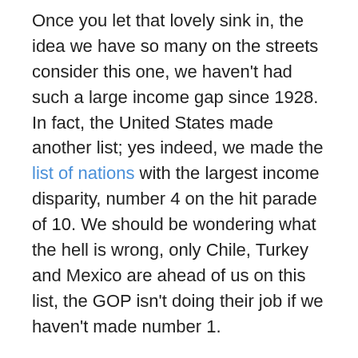Once you let that lovely sink in, the idea we have so many on the streets consider this one, we haven't had such a large income gap since 1928. In fact, the United States made another list; yes indeed, we made the list of nations with the largest income disparity, number 4 on the hit parade of 10. We should be wondering what the hell is wrong, only Chile, Turkey and Mexico are ahead of us on this list, the GOP isn't doing their job if we haven't made number 1.
Now while you are absorbing the thought of all your fellow citizens living rough; men, women and children living without shelter consider the findings of Transparency International, we aren't doing so well on the issue of corruption. In fact, we are suck. Our perception of ourselves, as a nation isn't great so how do we justify sending our military out to police others? Just asking mind